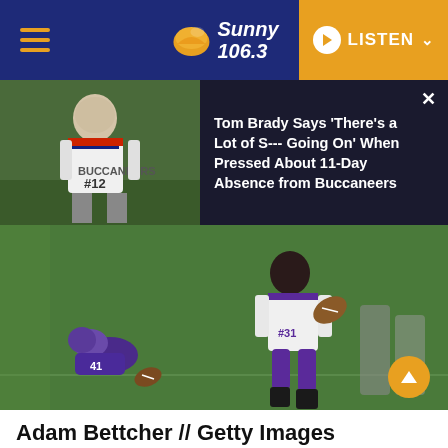Sunny 106.3 — LISTEN
[Figure (photo): Tom Brady in Buccaneers uniform, notification banner with headline about 11-day absence]
Tom Brady Says 'There's a Lot of S--- Going On' When Pressed About 11-Day Absence from Buccaneers
[Figure (photo): NFL player in purple Minnesota Vikings uniform running with football, another player tackled on field]
Adam Bettcher // Getty Images
– Year founded: 1961
– Overall record: 593-421-11